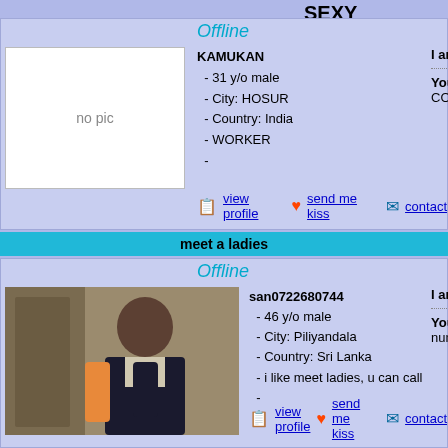SEXY
Offline
KAMUKAN
- 31 y/o male
- City: HOSUR
- Country: India
- WORKER
-
I am: AM VERY SEXY G
You are: WHAT EVER G CHART CONTACT ME ..
view profile  send me kiss  contact
meet a ladies
Offline
[Figure (photo): Profile photo of san0722680744, a man in dark clothing]
san0722680744
- 46 y/o male
- City: Piliyandala
- Country: Sri Lanka
- i like meet ladies, u can call
-
I am: i am very sexual guy
You are: any sexy lady cal my number in my nick nam
view profile  send me kiss  contact